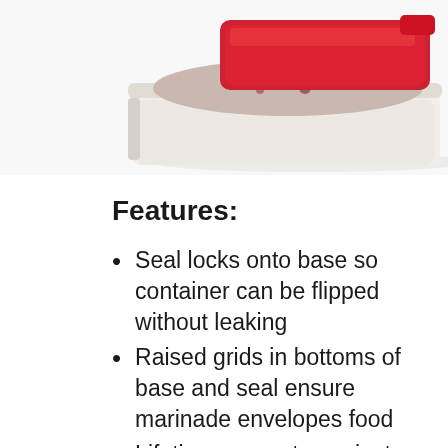[Figure (photo): A rectangular food storage container with a white/cream base filled with a marinated salad or food mixture, topped with a red lid partially open, shown on a white background.]
Features:
Seal locks onto base so container can be flipped without leaking
Raised grids in bottoms of base and seal ensure marinade envelopes food
Lifetime warranty against chipping, cracking, breaking, peeling
Ideal for thoroughly